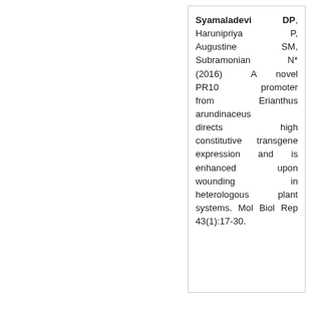Syamaladevi DP, Harunipriya P, Augustine SM, Subramonian N* (2016) A novel PR10 promoter from Erianthus arundinaceus directs high constitutive transgene expression and is enhanced upon wounding in heterologous plant systems. Mol Biol Rep 43(1):17-30.